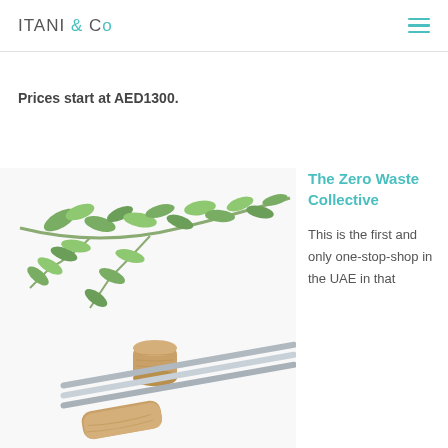ITANI & CO
Prices start at AED1300.
[Figure (photo): Photo of green olive/eucalyptus branches and metal straws with a wooden handle/stopper, on a white background]
The Zero Waste Collective
This is the first and only one-stop-shop in the UAE in that